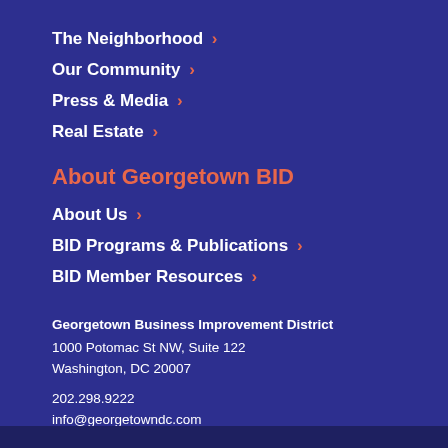The Neighborhood ›
Our Community ›
Press & Media ›
Real Estate ›
About Georgetown BID
About Us ›
BID Programs & Publications ›
BID Member Resources ›
Georgetown Business Improvement District
1000 Potomac St NW, Suite 122
Washington, DC 20007

202.298.9222
info@georgetowndc.com